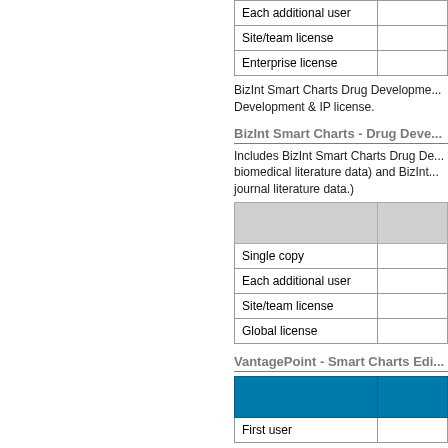| Each additional user |  |
| Site/team license |  |
| Enterprise license |  |
BizInt Smart Charts Drug Development & IP license.
BizInt Smart Charts - Drug Deve...
Includes BizInt Smart Charts Drug De... biomedical literature data) and BizInt... journal literature data.)
| Single copy |  |
| Each additional user |  |
| Site/team license |  |
| Global license |  |
VantagePoint - Smart Charts Edi...
| First user |  |